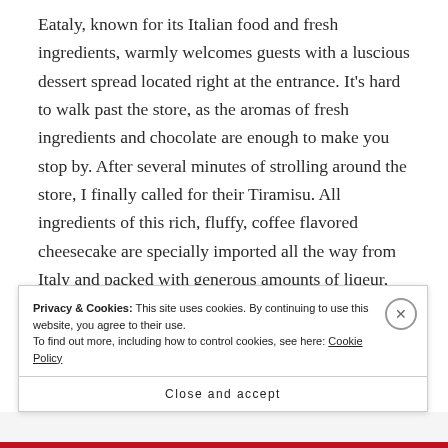Eataly, known for its Italian food and fresh ingredients, warmly welcomes guests with a luscious dessert spread located right at the entrance. It's hard to walk past the store, as the aromas of fresh ingredients and chocolate are enough to make you stop by. After several minutes of strolling around the store, I finally called for their Tiramisu. All ingredients of this rich, fluffy, coffee flavored cheesecake are specially imported all the way from Italy and packed with generous amounts of liqeur, espresso, chocolate and mascarpone, thus making it a must-try dessert on their menu. Incase that's not
Privacy & Cookies: This site uses cookies. By continuing to use this website, you agree to their use.
To find out more, including how to control cookies, see here: Cookie Policy
Close and accept